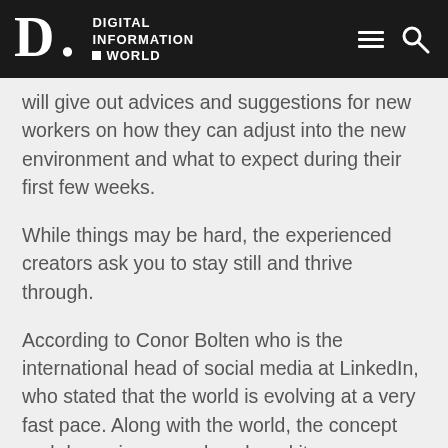Digital Information World
will give out advices and suggestions for new workers on how they can adjust into the new environment and what to expect during their first few weeks.
While things may be hard, the experienced creators ask you to stay still and thrive through.
According to Conor Bolten who is the international head of social media at LinkedIn, who stated that the world is evolving at a very fast pace. Along with the world, the concept and dynamics around work and its environment is changing as well. Hence it is important for the newer generation who is stepping or soon will be stepping into the work force or looking for job opportunities to be updated about what they should expect so that it doesn't